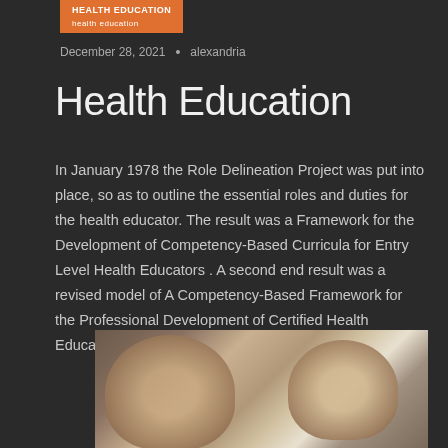HEALTH EDUCATION
December 28, 2021 • alexandria
Health Education
In January 1978 the Role Delineation Project was put into place, so as to outline the essential roles and duties for the health educator. The result was a Framework for the Development of Competency-Based Curricula for Entry Level Health Educators . A second end result was a revised model of A Competency-Based Framework for the Professional Development of Certified Health Education Specialists .
[Figure (photo): Two people in a consultation or educational setting, appearing to be having a discussion]